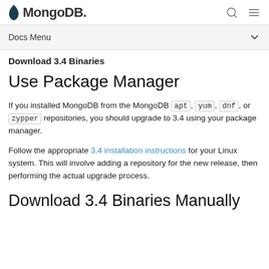MongoDB
Docs Menu
Download 3.4 Binaries
Use Package Manager
If you installed MongoDB from the MongoDB apt, yum, dnf, or zypper repositories, you should upgrade to 3.4 using your package manager.
Follow the appropriate 3.4 installation instructions for your Linux system. This will involve adding a repository for the new release, then performing the actual upgrade process.
Download 3.4 Binaries Manually